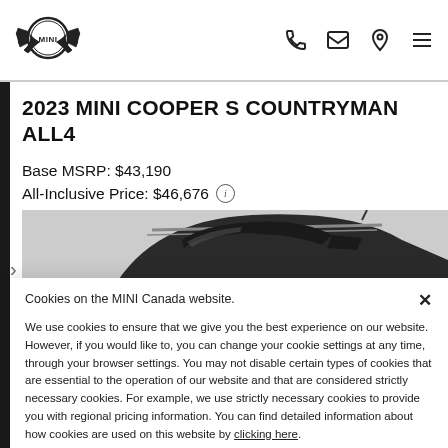[Figure (logo): MINI logo — winged circle badge with MINI text]
[Figure (illustration): Header icons: phone, envelope, location pin, hamburger menu]
2023 MINI COOPER S COUNTRYMAN ALL4
Base MSRP: $43,190
All-Inclusive Price: $46,676 ℹ
[Figure (photo): Partial top view of a dark MINI Countryman SUV]
Cookies on the MINI Canada website.
We use cookies to ensure that we give you the best experience on our website. However, if you would like to, you can change your cookie settings at any time, through your browser settings. You may not disable certain types of cookies that are essential to the operation of our website and that are considered strictly necessary cookies. For example, we use strictly necessary cookies to provide you with regional pricing information. You can find detailed information about how cookies are used on this website by clicking here.